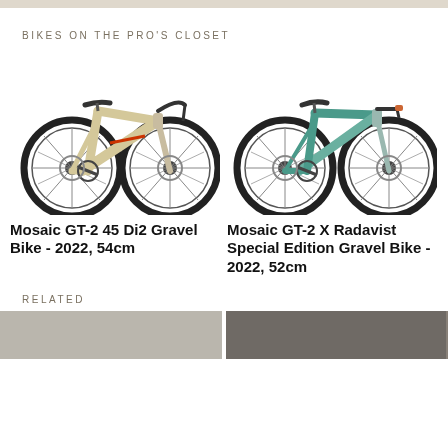BIKES ON THE PRO'S CLOSET
[Figure (photo): Mosaic GT-2 gravel bike in tan/beige with red logo and black components, photographed on white background]
[Figure (photo): Mosaic GT-2 X Radavist Special Edition gravel bike in teal/green with orange accents, photographed on white background]
Mosaic GT-2 45 Di2 Gravel Bike - 2022, 54cm
Mosaic GT-2 X Radavist Special Edition Gravel Bike - 2022, 52cm
RELATED
[Figure (photo): Related article thumbnail image on left]
[Figure (photo): Related article thumbnail image on right]